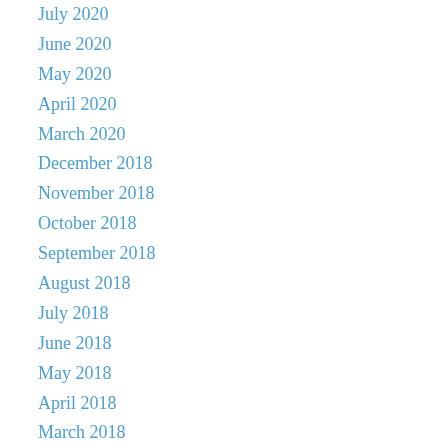July 2020
June 2020
May 2020
April 2020
March 2020
December 2018
November 2018
October 2018
September 2018
August 2018
July 2018
June 2018
May 2018
April 2018
March 2018
February 2018
January 2018
December 2017
November 2017
October 2017